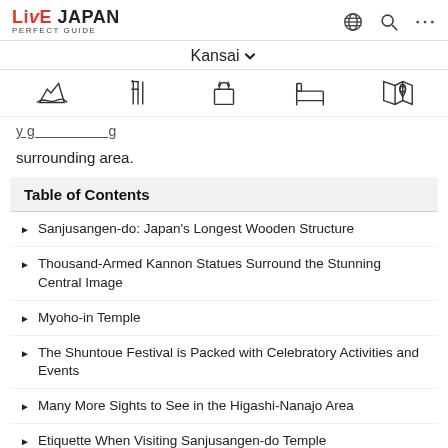LIVE JAPAN PERFECT GUIDE
Kansai
surrounding area.
Table of Contents
Sanjusangen-do: Japan's Longest Wooden Structure
Thousand-Armed Kannon Statues Surround the Stunning Central Image
Myoho-in Temple
The Shuntoue Festival is Packed with Celebratory Activities and Events
Many More Sights to See in the Higashi-Nanajo Area
Etiquette When Visiting Sanjusangen-do Temple